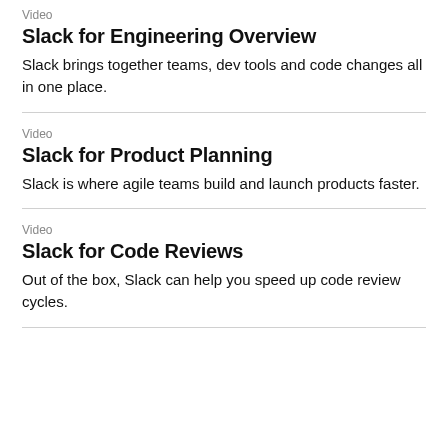Video
Slack for Engineering Overview
Slack brings together teams, dev tools and code changes all in one place.
Video
Slack for Product Planning
Slack is where agile teams build and launch products faster.
Video
Slack for Code Reviews
Out of the box, Slack can help you speed up code review cycles.